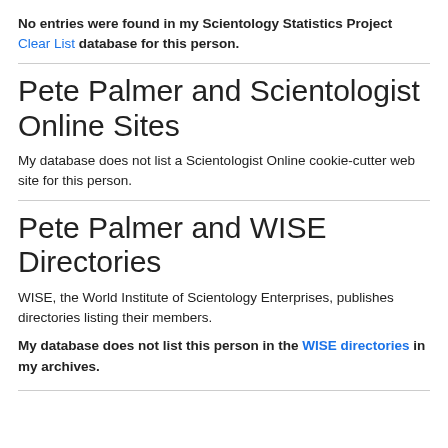No entries were found in my Scientology Statistics Project Clear List database for this person.
Pete Palmer and Scientologist Online Sites
My database does not list a Scientologist Online cookie-cutter web site for this person.
Pete Palmer and WISE Directories
WISE, the World Institute of Scientology Enterprises, publishes directories listing their members.
My database does not list this person in the WISE directories in my archives.